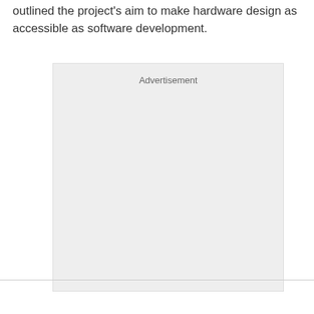outlined the project's aim to make hardware design as accessible as software development.
[Figure (other): Advertisement placeholder box with light gray background and 'Advertisement' label at top center]